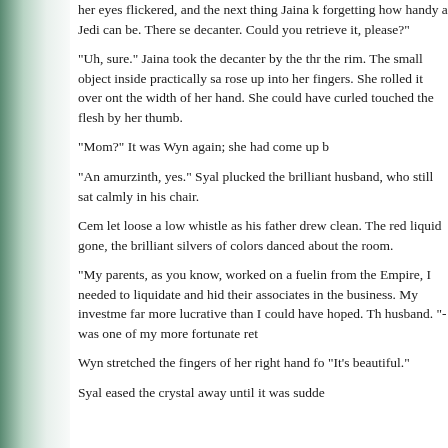her eyes flickered, and the next thing Jaina k forgetting how handy a Jedi can be. There se decanter. Could you retrieve it, please?
"Uh, sure." Jaina took the decanter by the thr the rim. The small object inside practically sa rose up into her fingers. She rolled it over ont the width of her hand. She could have curled touched the flesh by her thumb.
"Mom?" It was Wyn again; she had come up b
"An amurzinth, yes." Syal plucked the brilliant husband, who still sat calmly in his chair.
Cem let loose a low whistle as his father drew clean. The red liquid gone, the brilliant silvers of colors danced about the room.
"My parents, as you know, worked on a fuelin from the Empire, I needed to liquidate and hid their associates in the business. My investme far more lucrative than I could have hoped. Th husband. "- was one of my more fortunate ret
Wyn stretched the fingers of her right hand fo "It's beautiful."
Syal eased the crystal away until it was sudde